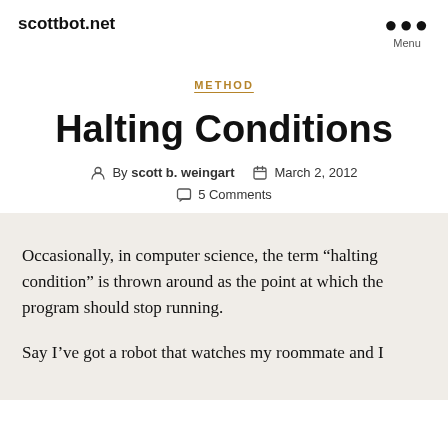scottbot.net
METHOD
Halting Conditions
By scott b. weingart   March 2, 2012   5 Comments
Occasionally, in computer science, the term “halting condition” is thrown around as the point at which the program should stop running.
Say I’ve got a robot that watches my roommate and I